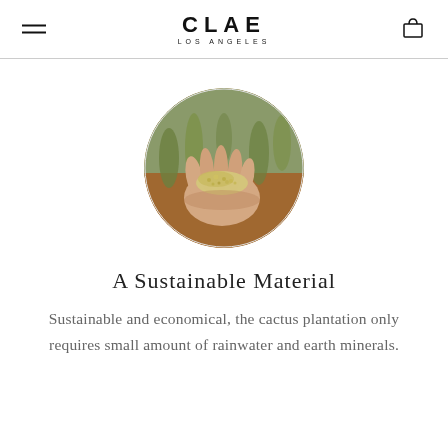CLAE LOS ANGELES
[Figure (photo): A hand holding yellow-green powder/granules with cactus plants visible in the blurred background, displayed in a circular crop.]
A Sustainable Material
Sustainable and economical, the cactus plantation only requires small amount of rainwater and earth minerals.